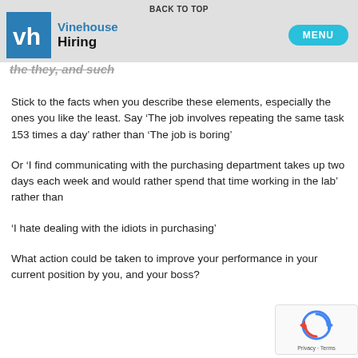BACK TO TOP | Vinehouse Hiring | MENU
the they, and such
Stick to the facts when you describe these elements, especially the ones you like the least. Say ‘The job involves repeating the same task 153 times a day’ rather than ‘The job is boring’
Or ‘I find communicating with the purchasing department takes up two days each week and would rather spend that time working in the lab’ rather than
‘I hate dealing with the idiots in purchasing’
What action could be taken to improve your performance in your current position by you, and your boss?